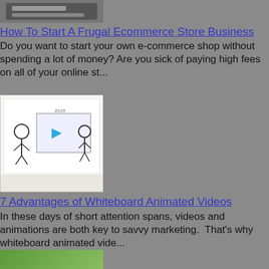[Figure (photo): Top portion of a laptop/ecommerce related thumbnail image, partially cropped]
How To Start A Frugal Ecommerce Store Business
Do you want to start your own e-commerce shop without spending a lot of money? Are you sick of paying high fees on all of your online st...
[Figure (photo): Whiteboard animated video thumbnail showing cartoon characters around a screen with a play button]
7 Advantages of Whiteboard Animated Videos
In these days of short attention spans, videos and animations are both key to savvy marketing.  That's why whiteboard animated vide...
[Figure (photo): Photo of a savings jar with coins and green background, retirement savings concept]
7 Retirement Savings Goals To Retire Right
Are you in your early 20s and just starting to make your own real money? Or are you already in your mid-40s with kids starting to grow up...
[Figure (photo): Two-panel image: left panel shows black background with SSIVE VS TIVE text in white/colored letters; right panel shows blue background passive income concept]